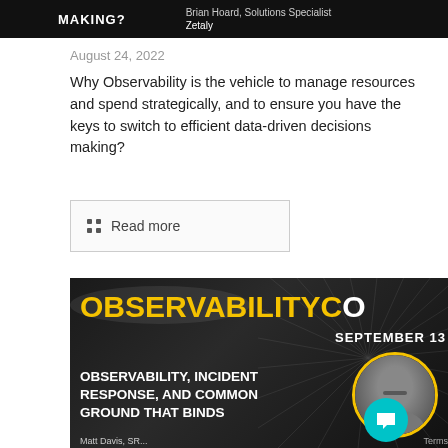[Figure (screenshot): Top portion of a dark conference banner showing 'MAKING?' in white bold text and speaker info 'Brian Hoard, Solutions Specialist, Zetaly' on black background]
August 24, 2022
Why Observability is the vehicle to manage resources and spend strategically, and to ensure you have the keys to switch to efficient data-driven decisions making?
Read more
[Figure (screenshot): Dark conference banner for ObservabilityCon showing 'OBSERVABILITY CON', 'SEPTEMBER 13', 'OBSERVABILITY, INCIDENT RESPONSE, AND COMMON GROUND THAT BINDS' with speaker Matt Davis photo in circular yellow-bordered frame and teal chat bubble icon. Text 'terms' visible bottom right, 'Matt Davis, SR...' bottom.]